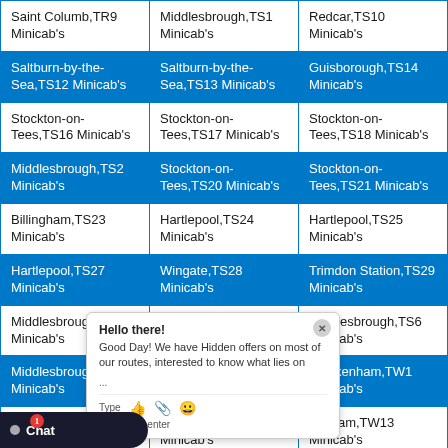| Saint Columb,TR9 Minicab's | Middlesbrough,TS1 Minicab's | Redcar,TS10 Minicab's |
| Saltburn-by-the-Sea,TS12 Minicab's | Saltburn-by-the-Sea,TS13 Minicab's | Guisborough,TS14 Minicab's |
| Stockton-on-Tees,TS16 Minicab's | Stockton-on-Tees,TS17 Minicab's | Stockton-on-Tees,TS18 Minicab's |
| Middlesbrough,TS2 Minicab's | Stockton-on-Tees,TS20 Minicab's | Stockton-on-Tees,TS21 Minicab's |
| Billingham,TS23 Minicab's | Hartlepool,TS24 Minicab's | Hartlepool,TS25 Minicab's |
| Hartlepool,TS27 Minicab's | Wingate,TS28 Minicab's | Trimdon Station,TS29 Minicab's |
| Middlesbrough,TS4 Minicab's | Middlesbrough,TS5 Minicab's | Middlesbrough,TS6 Minicab's |
| Middlesbrough,TS8 Minicab's | Middlesbrough,TS9 Minicab's | Twickenham,TW1 Minicab's |
| Teddington,TW11 Minicab's | Hampton,TW12 Minicab's | Feltham,TW13 Minicab's |
| Hanworth,TW15 Minicab's | Sunbury-on-thames,TW16 Minicab's | Shepperton,TW17 Minicab's |